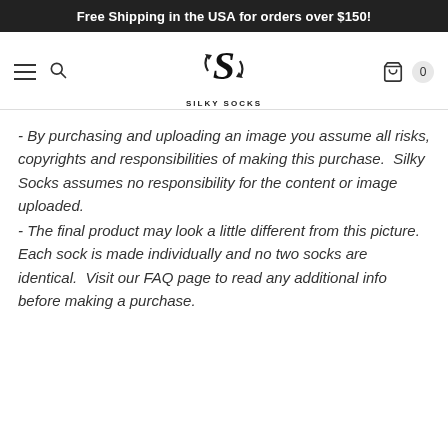Free Shipping in the USA for orders over $150!
[Figure (logo): Silky Socks logo — stylized S with arrows forming a circular motif, text SILKY SOCKS below]
- By purchasing and uploading an image you assume all risks, copyrights and responsibilities of making this purchase.  Silky Socks assumes no responsibility for the content or image uploaded.
- The final product may look a little different from this picture. Each sock is made individually and no two socks are identical.  Visit our FAQ page to read any additional info before making a purchase.